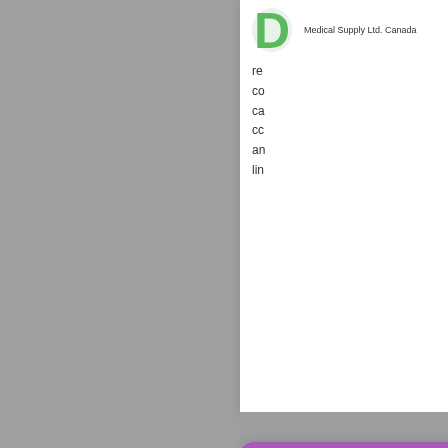[Figure (logo): Green letter D logo with 'Medical Supply Ltd. Canada' text beside it]
re co ca cc an lin
[Figure (logo): Pentagon-shaped logo with 'Vani x Beauty treasures' text and stylized V with face silhouette]
w bu co in